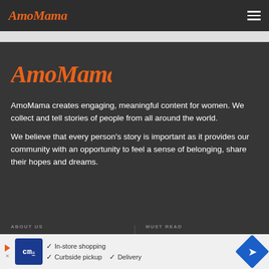AmoMama
[Figure (logo): AmoMama logo in large orange script text on dark background]
AmoMama creates engaging, meaningful content for women. We collect and tell stories of people from all around the world.
We believe that every person's story is important as it provides our community with an opportunity to feel a sense of belonging, share their hopes and dreams.
ABOUT US
Advertise with us
MUST READ
Women With Will
[Figure (screenshot): Advertisement banner for CM (store shopping) showing In-store shopping, Curbside pickup, and Delivery options with a navigation icon]